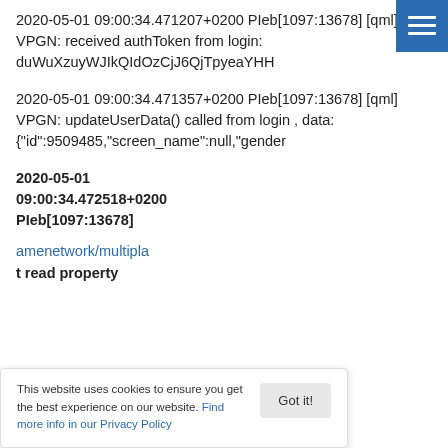2020-05-01 09:00:34.471207+0200 PIeb[1097:13678] [qml] VPGN: received authToken from login: duWuXzuyWJIkQIdOzCjJ6QjTpyeaYHH
2020-05-01 09:00:34.471357+0200 PIeb[1097:13678] [qml] VPGN: updateUserData() called from login , data: {"id":9509485,"screen_name":null,"gender
2020-05-01 09:00:34.472518+0200 PIeb[1097:13678] ...amenetwork/multipla ...t read property